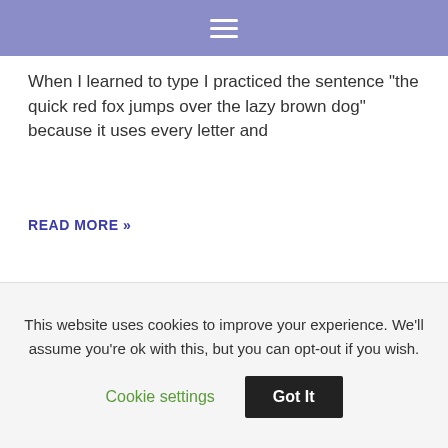When I learned to type I practiced the sentence "the quick red fox jumps over the lazy brown dog" because it uses every letter and
READ MORE »
Sifu. Mark Ringer
Contact
Policies
Locations
This website uses cookies to improve your experience. We'll assume you're ok with this, but you can opt-out if you wish.
Cookie settings
Got It